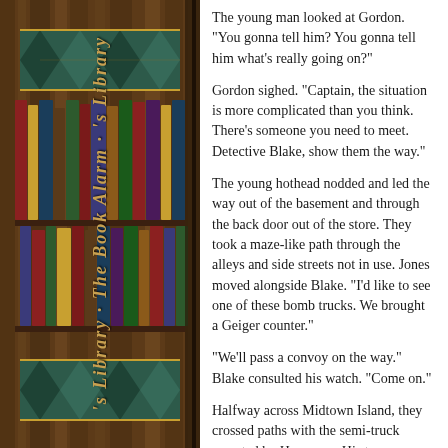[Figure (illustration): Decorative book spine / library background on the left side, featuring diamond/chevron patterns in teal and gold on dark brown wood-grain background, with vertical italic title text reading 's Library The Book Alarm's Library']
The young man looked at Gordon. "You gonna tell him? You gonna tell him what's really going on?"
Gordon sighed. "Captain, the situation is more complicated than you think. There's someone you need to meet. Detective Blake, show them the way."
The young hothead nodded and led the way out of the basement and through the back door out of the store. They took a maze-like path through the alleys and side streets not in use. Jones moved alongside Blake. "I'd like to see one of these bomb trucks. We brought a Geiger counter."
"We'll pass a convoy on the way." Blake consulted his watch. "Come on."
Halfway across Midtown Island, they crossed paths with the semi-truck escorted by Hummers. His two men guarded the other end of the alley. Jones faced the building and hid the Geiger counter with his body. Blake